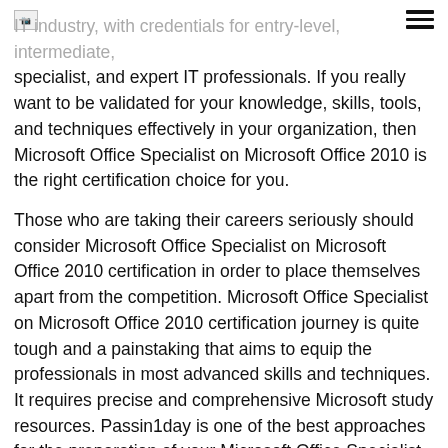[Figure (other): Broken image icon placeholder in top left corner]
IT industry, with credentials for entry-level, intermediate, specialist, and expert IT professionals. If you really want to be validated for your knowledge, skills, tools, and techniques effectively in your organization, then Microsoft Office Specialist on Microsoft Office 2010 is the right certification choice for you.
Those who are taking their careers seriously should consider Microsoft Office Specialist on Microsoft Office 2010 certification in order to place themselves apart from the competition. Microsoft Office Specialist on Microsoft Office 2010 certification journey is quite tough and a painstaking that aims to equip the professionals in most advanced skills and techniques. It requires precise and comprehensive Microsoft study resources. Passin1day is one of the best approaches for the preparation of your Microsoft Office Specialist on Microsoft Office 2010 exam. We at Passin1day.com is providing Microsoft Office Specialist on Microsoft Office 2010 exam dumps which will help you greatly to surely pass your exam. Our Microsoft Microsoft Office Specialist on Microsoft